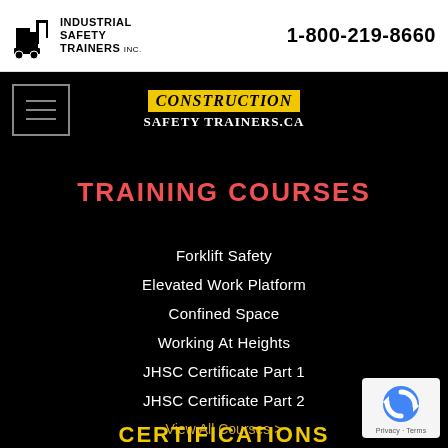Industrial Safety Trainers Inc. | 1-800-219-8660
[Figure (screenshot): Menu hamburger button icon (three horizontal lines) in a square border]
Construction Safety Trainers.ca
TRAINING COURSES
Forklift Safety
Elevated Work Platform
Confined Space
Working At Heights
JHSC Certificate Part 1
JHSC Certificate Part 2
View All Courses >
[Figure (logo): reCAPTCHA badge with blue circular arrow logo, Privacy and Terms links]
CERTIFICATIONS